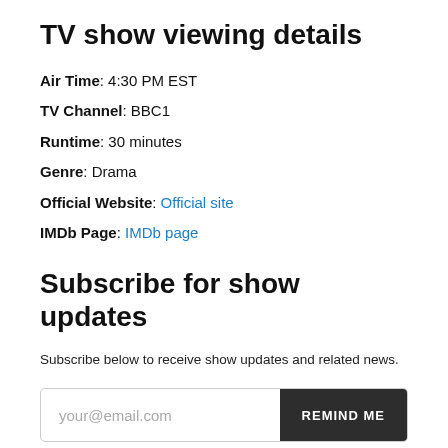TV show viewing details
Air Time: 4:30 PM EST
TV Channel: BBC1
Runtime: 30 minutes
Genre: Drama
Official Website: Official site
IMDb Page: IMDb page
Subscribe for show updates
Subscribe below to receive show updates and related news.
your@email.com  REMIND ME